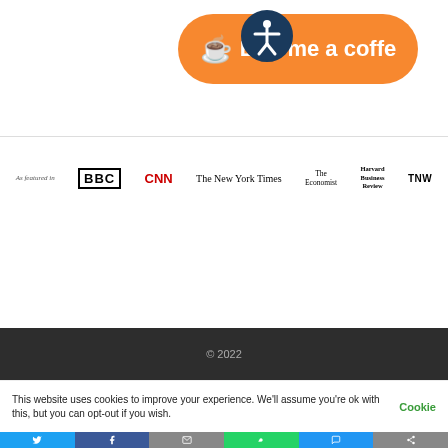[Figure (logo): Buy me a coffee orange button with coffee cup icon and accessibility icon overlay]
[Figure (logo): As Featured In bar with BBC, CNN, The New York Times, The Economist, Harvard Business Review, TNW logos]
[Figure (screenshot): Dark footer bar with copyright 2022]
This website uses cookies to improve your experience. We'll assume you're ok with this, but you can opt-out if you wish.
Cookie
[Figure (infographic): Social share bar with Twitter, Facebook, Email, WhatsApp, SMS, More icons]